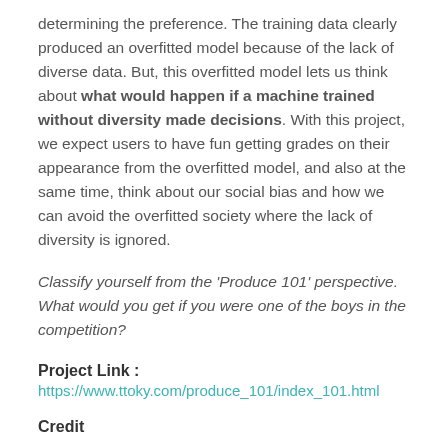determining the preference. The training data clearly produced an overfitted model because of the lack of diverse data. But, this overfitted model lets us think about what would happen if a machine trained without diversity made decisions. With this project, we expect users to have fun getting grades on their appearance from the overfitted model, and also at the same time, think about our social bias and how we can avoid the overfitted society where the lack of diversity is ignored.
Classify yourself from the 'Produce 101' perspective. What would you get if you were one of the boys in the competition?
Project Link : https://www.ttoky.com/produce_101/index_101.html
Credit